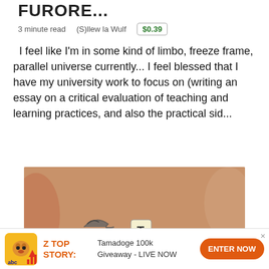FURORE...
3 minute read   (S)llew la Wulf   $0.39
I feel like I'm in some kind of limbo, freeze frame, parallel universe currently... I feel blessed that I have my university work to focus on (writing an essay on a critical evaluation of teaching and learning practices, and also the practical sid...
[Figure (photo): Photo of a person's midsection with Scrabble tiles arranged to spell out words on the skin. The tiles spell 'Trump' (with T tile and 'rump' in white text), then 'W' below, then 'A' below that, then 'CUNT' horizontally, forming a crossword-style arrangement.]
Z TOP STORY:  Tamadoge 100k Giveaway - LIVE NOW  ENTER NOW